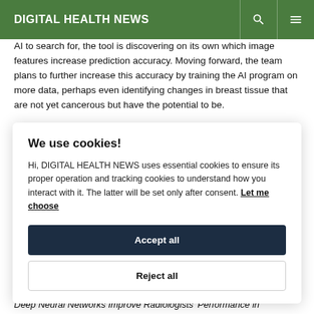DIGITAL HEALTH NEWS
AI to search for, the tool is discovering on its own which image features increase prediction accuracy. Moving forward, the team plans to further increase this accuracy by training the AI program on more data, perhaps even identifying changes in breast tissue that are not yet cancerous but have the potential to be.
We use cookies!
Hi, DIGITAL HEALTH NEWS uses essential cookies to ensure its proper operation and tracking cookies to understand how you interact with it. The latter will be set only after consent. Let me choose
Accept all
Reject all
Deep Neural Networks Improve Radiologists' Performance in